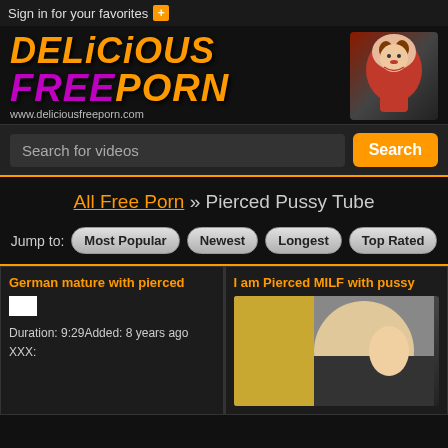Sign in for your favorites +
[Figure (logo): DeliciousFreePorn logo with stylized yellow/pink text and illustrated woman character. URL: www.deliciousfreeporn.com]
Search for videos  [Search button]
All Free Porn » Pierced Pussy Tube
Jump to: Most Popular  Newest  Longest  Top Rated
German mature with pierced
Duration: 9:29 Added: 8 years ago
XXX:
I am Pierced MILF with pussy